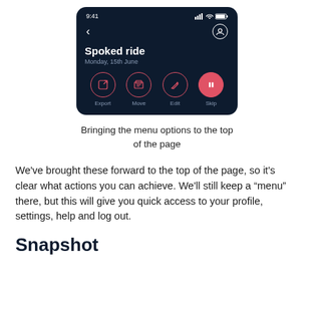[Figure (screenshot): Mobile app screenshot showing a dark-themed cycling app screen with title 'Spoked ride', date 'Monday, 15th June', and four action buttons: Export, Move, Edit, Skip with coral/pink circular icons.]
Bringing the menu options to the top of the page
We've brought these forward to the top of the page, so it's clear what actions you can achieve. We'll still keep a “menu” there, but this will give you quick access to your profile, settings, help and log out.
Snapshot